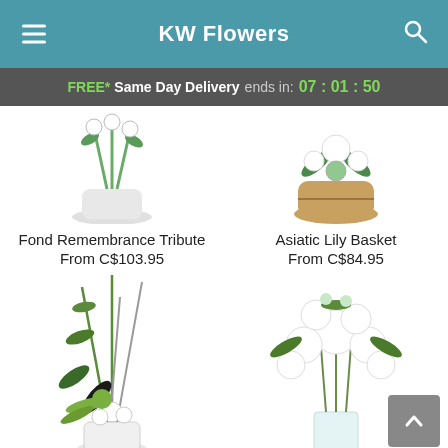KW Flowers
FREE* Same Day Delivery ends in: 07 : 01 : 50
Fond Remembrance Tribute
From C$103.95
Asiatic Lily Basket
From C$84.95
[Figure (photo): Floral arrangement with green stems in white vase - Fond Remembrance Tribute]
[Figure (photo): Asiatic lily arrangement in basket - Asiatic Lily Basket]
[Figure (photo): Modern green and white floral arrangement with tall stems in white container]
[Figure (photo): White flowers bouquet in glass vase]